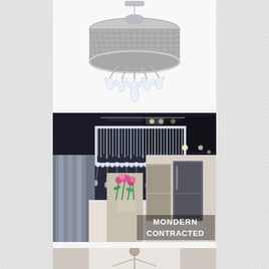[Figure (photo): Round crystal chandelier with beaded drum shade and hanging crystal drops on chrome frame, photographed against white background]
[Figure (photo): Modern contracted rectangular crystal chandelier hanging in a contemporary dining/living room interior, with text overlay reading MONDERN CONTRACTED]
[Figure (photo): Partial view of another chandelier fixture at the bottom of the page]